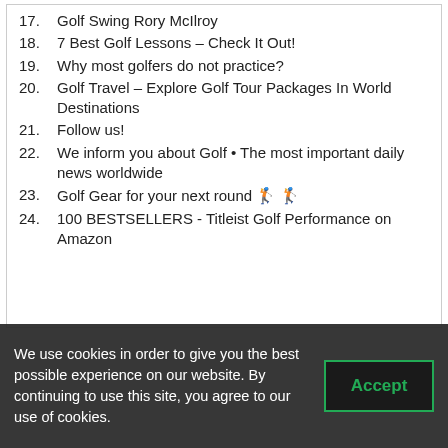17. Golf Swing Rory McIlroy
18. 7 Best Golf Lessons – Check It Out!
19. Why most golfers do not practice?
20. Golf Travel – Explore Golf Tour Packages In World Destinations
21. Follow us!
22. We inform you about Golf • The most important daily news worldwide
23. Golf Gear for your next round 🏌️ 🏌️
24. 100 BESTSELLERS - Titleist Golf Performance on Amazon
We use cookies in order to give you the best possible experience on our website. By continuing to use this site, you agree to our use of cookies.
Accept